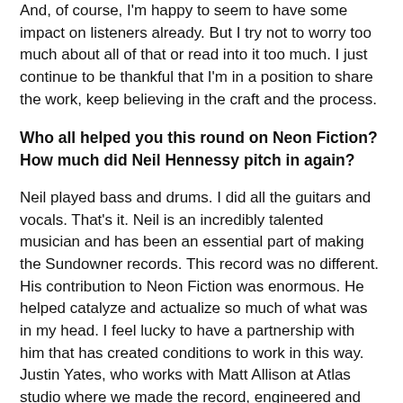And, of course, I'm happy to seem to have some impact on listeners already. But I try not to worry too much about all of that or read into it too much. I just continue to be thankful that I'm in a position to share the work, keep believing in the craft and the process.
Who all helped you this round on Neon Fiction? How much did Neil Hennessy pitch in again?
Neil played bass and drums. I did all the guitars and vocals. That's it. Neil is an incredibly talented musician and has been an essential part of making the Sundowner records. This record was no different. His contribution to Neon Fiction was enormous. He helped catalyze and actualize so much of what was in my head. I feel lucky to have a partnership with him that has created conditions to work in this way. Justin Yates, who works with Matt Allison at Atlas studio where we made the record, engineered and helped produce which allowed Neil and myself to really focus in on performance. Neil is a true